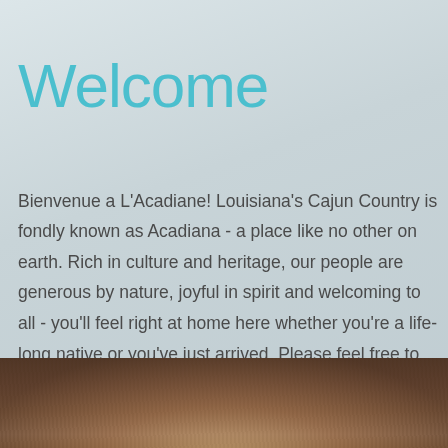Welcome
Bienvenue a L'Acadiane! Louisiana's Cajun Country is fondly known as Acadiana - a place like no other on earth. Rich in culture and heritage, our people are generous by nature, joyful in spirit and welcoming to all - you'll feel right at home here whether you're a life-long native or you've just arrived. Please feel free to visit my site often and L'aissez Les Bon Temps Roulez!
[Figure (photo): Close-up photo of a person's hair from above, showing wavy brown/golden hair against a muted background.]